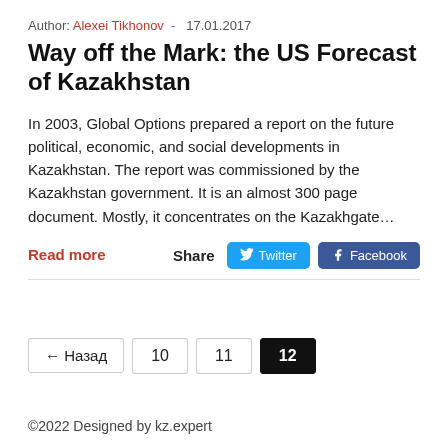Author: Alexei Tikhonov  -  17.01.2017
Way off the Mark: the US Forecast of Kazakhstan
In 2003, Global Options prepared a report on the future political, economic, and social developments in Kazakhstan. The report was commissioned by the Kazakhstan government. It is an almost 300 page document. Mostly, it concentrates on the Kazakhgate…
Read more
Share  Twitter  Facebook
← Назад
10
11
12
©2022 Designed by kz.expert